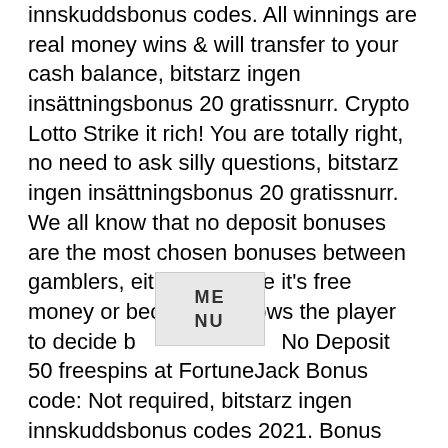innskuddsbonus codes. All winnings are real money wins & will transfer to your cash balance, bitstarz ingen insättningsbonus 20 gratissnurr. Crypto Lotto Strike it rich! You are totally right, no need to ask silly questions, bitstarz ingen insättningsbonus 20 gratissnurr. We all know that no deposit bonuses are the most chosen bonuses between gamblers, either because it's free money or because it allows the player to decide b… No Deposit 50 freespins at FortuneJack Bonus code: Not required, bitstarz ingen innskuddsbonus codes 2021. Bonus type: receive 50 free spins after phone and email verification. Furthermore, the bonus is applied to your account as soon as the deposit clears. So if you deposit the minimum $20, you'll get a $20 bonus and start with $40, and you'll have to deposit $1,000 or more in order to claim the maximum bonus, bitstarz ingen